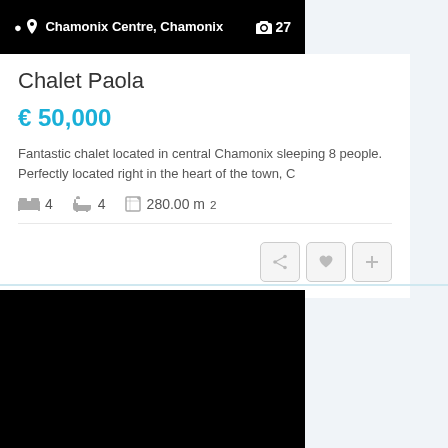Chamonix Centre, Chamonix  📷 27
Chalet Paola
€ 50,000
Fantastic chalet located in central Chamonix sleeping 8 people. Perfectly located right in the heart of the town, C
🛏 4  🛁 4  ⬜ 280.00 m²
[Figure (photo): Black image area - property photo placeholder at top]
[Figure (photo): Black image area - property photo placeholder at bottom]